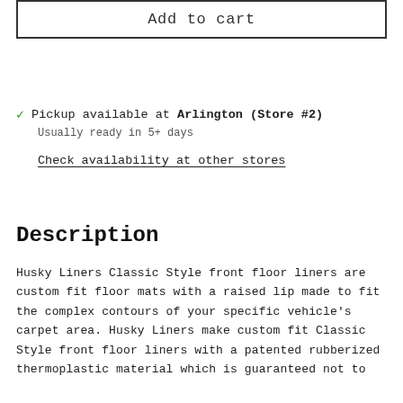Add to cart
✓ Pickup available at Arlington (Store #2)
Usually ready in 5+ days
Check availability at other stores
Description
Husky Liners Classic Style front floor liners are custom fit floor mats with a raised lip made to fit the complex contours of your specific vehicle's carpet area. Husky Liners make custom fit Classic Style front floor liners with a patented rubberized thermoplastic material which is guaranteed not to